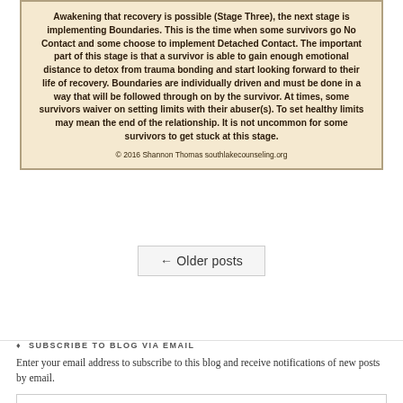Awakening that recovery is possible (Stage Three), the next stage is implementing Boundaries. This is the time when some survivors go No Contact and some choose to implement Detached Contact. The important part of this stage is that a survivor is able to gain enough emotional distance to detox from trauma bonding and start looking forward to their life of recovery. Boundaries are individually driven and must be done in a way that will be followed through on by the survivor. At times, some survivors waiver on setting limits with their abuser(s). To set healthy limits may mean the end of the relationship. It is not uncommon for some survivors to get stuck at this stage.
© 2016 Shannon Thomas southlakecounseling.org
← Older posts
♦ SUBSCRIBE TO BLOG VIA EMAIL
Enter your email address to subscribe to this blog and receive notifications of new posts by email.